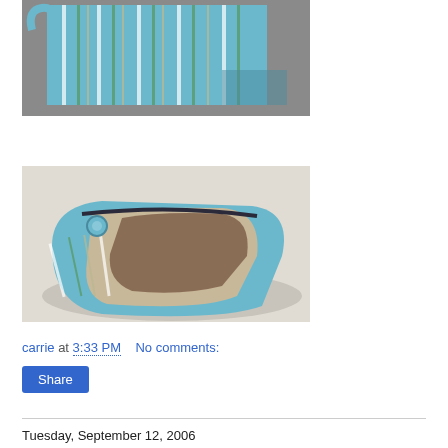[Figure (photo): Top view of a blue and white striped fabric bag with handle, shown on a grey surface]
[Figure (photo): Open blue and white striped fabric pouch/bag showing interior lining, lying on white fabric surface]
carrie at 3:33 PM    No comments:
Share
Tuesday, September 12, 2006